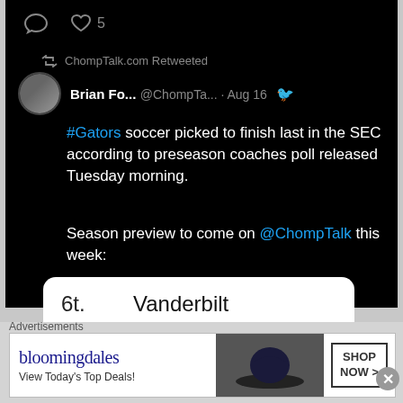[Figure (screenshot): Top black bar with comment icon and heart/like icon showing 5 likes]
ChompTalk.com Retweeted
Brian Fo... @ChompTa... · Aug 16
#Gators soccer picked to finish last in the SEC according to preseason coaches poll released Tuesday morning.

Season preview to come on @ChompTalk this week:
| Rank | Team |
| --- | --- |
| 6t. | Vanderbilt |
| 8. | Texas A&M |
| 9. | Ole Miss |
| 10. | LSU |
Advertisements
[Figure (screenshot): Bloomingdale's advertisement banner with Shop Now button]